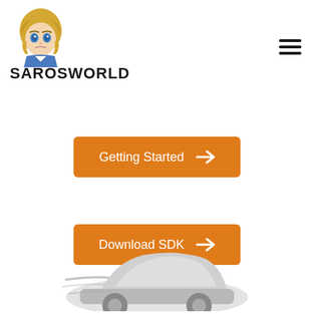[Figure (logo): SAROSWORLD logo with anime-style blonde character and bold text SAROSWORLD below]
[Figure (illustration): Hamburger menu icon (three horizontal lines) in top right corner]
Getting Started →
Download SDK →
[Figure (illustration): Grey and white stylized car illustration partially visible at the bottom of the page]